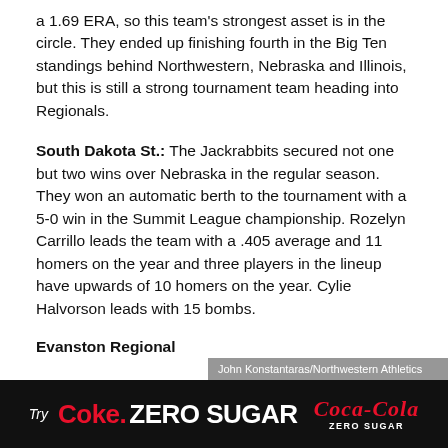a 1.69 ERA, so this team's strongest asset is in the circle. They ended up finishing fourth in the Big Ten standings behind Northwestern, Nebraska and Illinois, but this is still a strong tournament team heading into Regionals.
South Dakota St.: The Jackrabbits secured not one but two wins over Nebraska in the regular season. They won an automatic berth to the tournament with a 5-0 win in the Summit League championship. Rozelyn Carrillo leads the team with a .405 average and 11 homers on the year and three players in the lineup have upwards of 10 homers on the year. Cylie Halvorson leads with 15 bombs.
Evanston Regional
John Konstantaras/Northwestern Athletics
[Figure (other): Advertisement banner: Try Coke Zero Sugar with Coca-Cola Zero Sugar logo on black background]